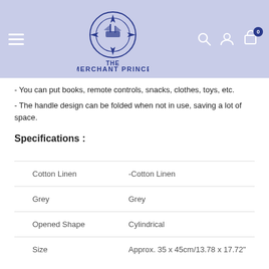The Merchant Prince — navigation header
- You can put books, remote controls, snacks, clothes, toys, etc.
- The handle design can be folded when not in use, saving a lot of space.
Specifications :
|  |  |
| --- | --- |
| Cotton Linen | -Cotton Linen |
| Grey | Grey |
| Opened Shape | Cylindrical |
| Size | Approx. 35 x 45cm/13.78 x 17.72" |